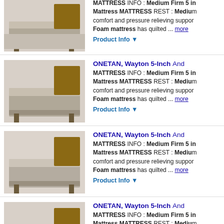[Figure (photo): Product image of a bed with mattress - partial at top]
MATTRESS INFO : Medium Firm 5 in Mattress MATTRESS REST : Medium comfort and pressure relieving support Foam mattress has quilted ... more
Product Info ▼
ONETAN, Wayton 5-Inch And...
[Figure (photo): Product image of a bed with mattress]
MATTRESS INFO : Medium Firm 5 in Mattress MATTRESS REST : Medium comfort and pressure relieving support Foam mattress has quilted ... more
Product Info ▼
ONETAN, Wayton 5-Inch And...
[Figure (photo): Product image of a bed with mattress]
MATTRESS INFO : Medium Firm 5 in Mattress MATTRESS REST : Medium comfort and pressure relieving support Foam mattress has quilted ... more
Product Info ▼
ONETAN, Wayton 5-Inch And...
[Figure (photo): Product image of a bed with mattress]
MATTRESS INFO : Medium Firm 5 in Mattress MATTRESS REST : Medium comfort and pressure relieving support Foam mattress has quilted ... more
Product Info ▼
ONETAN, Wayton 5-Inch And...
[Figure (photo): Product image of a bed with mattress - partial at bottom]
MATTRESS INFO : Medium Firm 5 in...